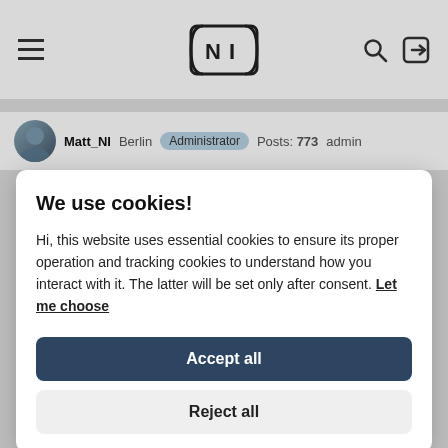NI — Navigation header with hamburger menu, NI logo, search and login icons
Matt_NI   Berlin   Administrator   Posts: 773   admin
We use cookies!
Hi, this website uses essential cookies to ensure its proper operation and tracking cookies to understand how you interact with it. The latter will be set only after consent. Let me choose
Accept all
Reject all